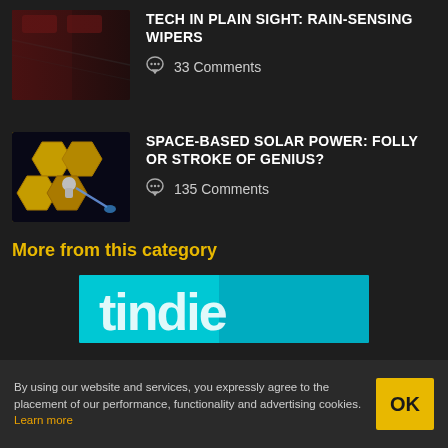[Figure (photo): Thumbnail image of rain-sensing wipers on a windshield with blurred background lights]
TECH IN PLAIN SIGHT: RAIN-SENSING WIPERS
33 Comments
[Figure (illustration): Thumbnail image of space-based solar power concept with hexagonal solar panels and a beam of light, yellow and space background]
SPACE-BASED SOLAR POWER: FOLLY OR STROKE OF GENIUS?
135 Comments
More from this category
[Figure (photo): Advertisement banner with teal/cyan background showing partial text 'tindie' or similar brand name in white bold letters]
By using our website and services, you expressly agree to the placement of our performance, functionality and advertising cookies. Learn more